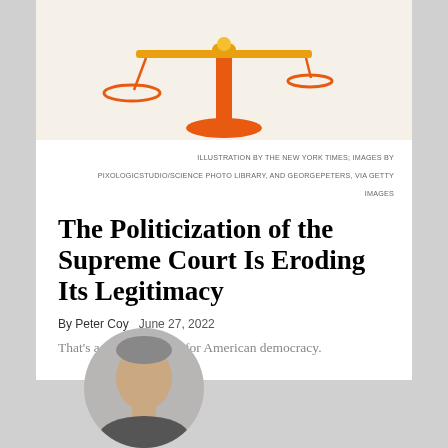[Figure (illustration): Illustration of scales of justice, orange/red colored, on a beige background, partially cropped at top]
ILLUSTRATION BY THE NEW YORK TIMES; IMAGES BY PIXOLOGICSTUDIO/SCIENCE PHOTO LIBRARY, AND GEORGEPETERS, VIA GETTY IMAGES
The Politicization of the Supreme Court Is Eroding Its Legitimacy
By Peter Coy   June 27, 2022
That’s a scary situation for American democracy.
[Figure (logo): The New York Times logo in blackletter/Gothic typeface]
[Figure (photo): Circular cropped author photo, partially visible at bottom of page]